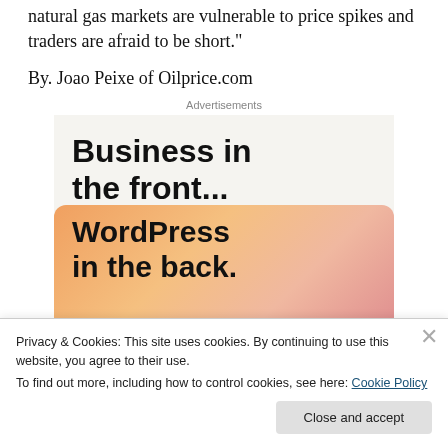natural gas markets are vulnerable to price spikes and traders are afraid to be short."
By. Joao Peixe of Oilprice.com
[Figure (other): Advertisement banner: top section with light gray background showing 'Business in the front...' text in bold; bottom section with peach/orange gradient background showing 'WordPress in the back.' text in bold.]
Privacy & Cookies: This site uses cookies. By continuing to use this website, you agree to their use.
To find out more, including how to control cookies, see here: Cookie Policy